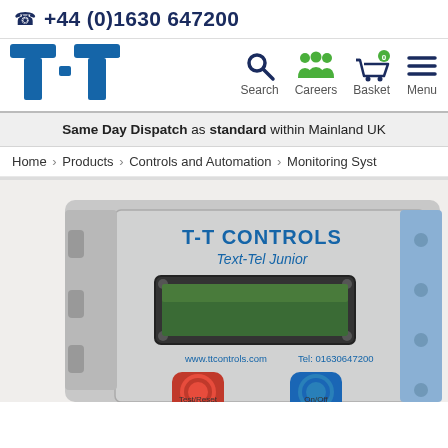+44 (0)1630 647200
[Figure (logo): T-T company logo in blue, stylized T-T lettering]
[Figure (infographic): Navigation bar with Search, Careers, Basket (0), Menu icons]
Same Day Dispatch as standard within Mainland UK
Home > Products > Controls and Automation > Monitoring Syst
[Figure (photo): T-T Controls Text-Tel Junior monitoring system unit in grey enclosure with green LCD display, red and blue buttons, showing www.ttcontrols.com Tel: 01630647200]